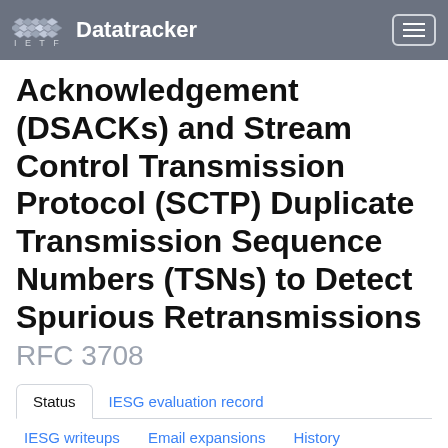IETF Datatracker
Acknowledgement (DSACKs) and Stream Control Transmission Protocol (SCTP) Duplicate Transmission Sequence Numbers (TSNs) to Detect Spurious Retransmissions
RFC 3708
Status | IESG evaluation record
IESG writeups | Email expansions | History
Versions: